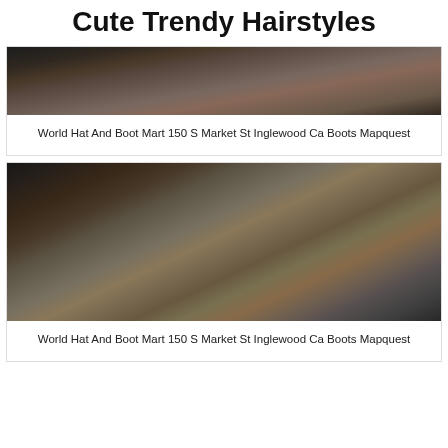Cute Trendy Hairstyles
[Figure (photo): Interior of a hat and boot store showing shelves with hats and accessories]
World Hat And Boot Mart 150 S Market St Inglewood Ca Boots Mapquest
[Figure (photo): Interior of World Hat And Boot Mart showing rows of boots on shelves and racks of hats]
World Hat And Boot Mart 150 S Market St Inglewood Ca Boots Mapquest